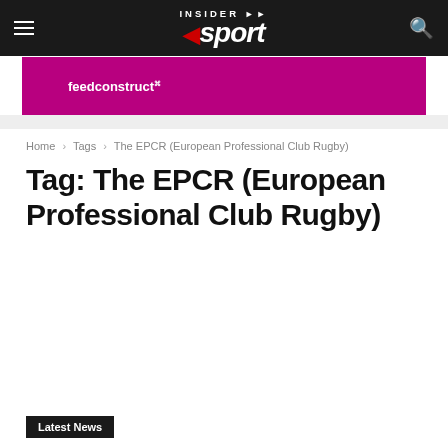Insider Sport
[Figure (logo): FeedConstruct advertisement banner in magenta/purple color]
Home › Tags › The EPCR (European Professional Club Rugby)
Tag: The EPCR (European Professional Club Rugby)
Latest News